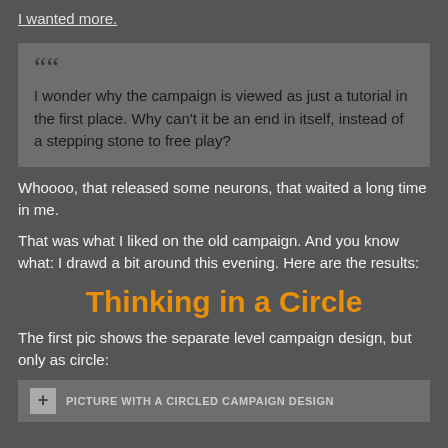I wanted more.
I wonder why the campaign is viewed as just a tutorial in the first place. Why can't it be an end in itself, instead of a stepping stone to free play?
Whoooo, that released some neurons, that waited a long time in me.
That was what I liked on the old campaign. And you know what: I drawd a bit around this evening. Here are the results:
Thinking in a Circle
The first pic shows the separate level campaign design, but only as circle:
[Figure (other): Picture with a circled campaign design]